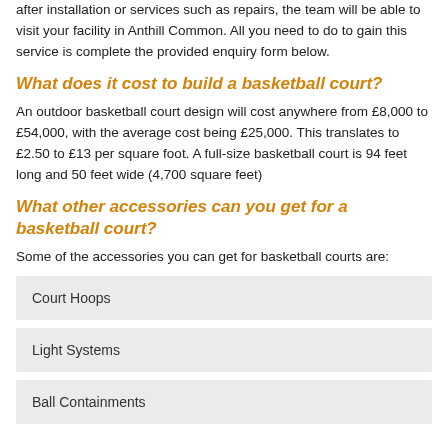after installation or services such as repairs, the team will be able to visit your facility in Anthill Common. All you need to do to gain this service is complete the provided enquiry form below.
What does it cost to build a basketball court?
An outdoor basketball court design will cost anywhere from £8,000 to £54,000, with the average cost being £25,000. This translates to £2.50 to £13 per square foot. A full-size basketball court is 94 feet long and 50 feet wide (4,700 square feet)
What other accessories can you get for a basketball court?
Some of the accessories you can get for basketball courts are:
Court Hoops
Light Systems
Ball Containments